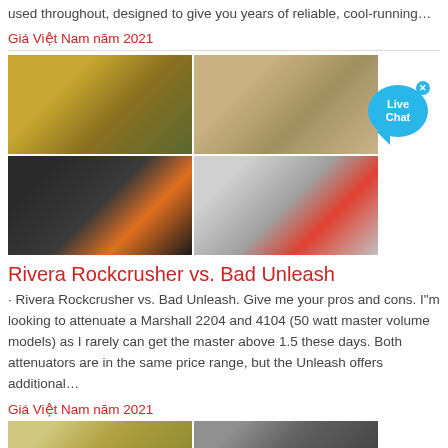used throughout, designed to give you years of reliable, cool-running…
Giá Việt Nam năm 2021
[Figure (photo): Four-panel grid of mining/quarry machinery images: top-left shows yellow conveyor crusher equipment, top-right shows excavator on sand, bottom-left shows crane silhouette at sunset, bottom-right shows industrial processing plant with red machinery.]
Rivera Rockcrusher vs. Bad Unleash
· Rivera Rockcrusher vs. Bad Unleash. Give me your pros and cons. I"m looking to attenuate a Marshall 2204 and 4104 (50 watt master volume models) as I rarely can get the master above 1.5 these days. Both attenuators are in the same price range, but the Unleash offers additional…
Giá Việt Nam năm 2021
[Figure (photo): Two partial images at bottom: left shows yellow mining equipment, right shows dark industrial/mining scene.]